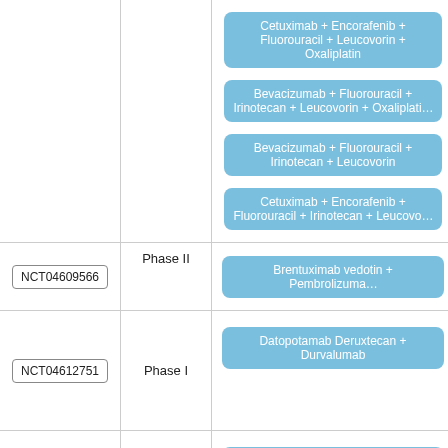| Trial ID | Phase | Treatment |
| --- | --- | --- |
|  |  | Cetuximab + Encorafenib + Fluorouracil + Leucovorin + Oxaliplatin | Bevacizumab + Fluorouracil + Irinotecan + Leucovorin + Oxaliplatin | Bevacizumab + Fluorouracil + Irinotecan + Leucovorin | Cetuximab + Encorafenib + Fluorouracil + Irinotecan + Leucovorin |
| NCT04609566 | Phase II | Brentuximab vedotin + Pembrolizumab |
| NCT04612751 | Phase I | Datopotamab Deruxtecan + Durvalumab |
| NCT04616183 | Phase Ib/II | Abemaciclib + Cetuximab + |